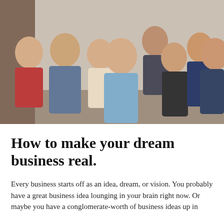[Figure (photo): Group photo of approximately 8 people smiling and laughing together, standing in front of a light-colored wall. People are wearing casual clothing including denim shirts and a red t-shirt.]
How to make your dream business real.
Every business starts off as an idea, dream, or vision. You probably have a great business idea lounging in your brain right now. Or maybe you have a conglomerate-worth of business ideas up in